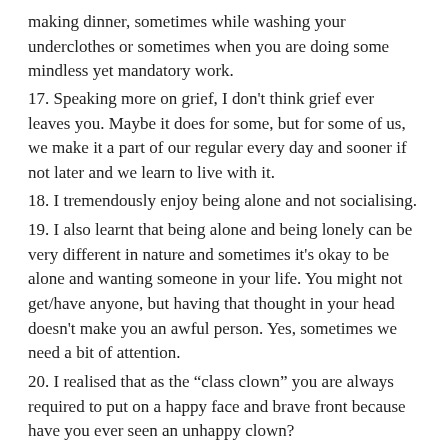making dinner, sometimes while washing your underclothes or sometimes when you are doing some mindless yet mandatory work.
17. Speaking more on grief, I don't think grief ever leaves you. Maybe it does for some, but for some of us, we make it a part of our regular every day and sooner if not later and we learn to live with it.
18. I tremendously enjoy being alone and not socialising.
19. I also learnt that being alone and being lonely can be very different in nature and sometimes it's okay to be alone and wanting someone in your life. You might not get/have anyone, but having that thought in your head doesn't make you an awful person. Yes, sometimes we need a bit of attention.
20. I realised that as the “class clown” you are always required to put on a happy face and brave front because have you ever seen an unhappy clown?
21. I've learnt how not to disturb the waters in my head or the waters (or ocean) we share with others. It takes a lot